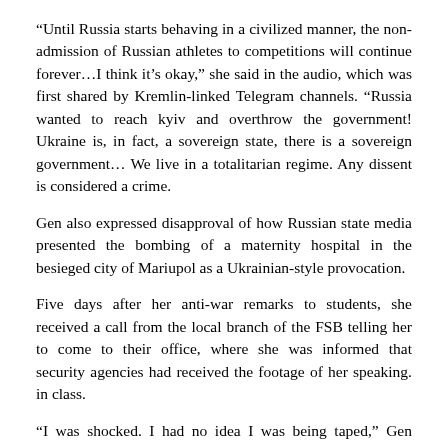“Until Russia starts behaving in a civilized manner, the non-admission of Russian athletes to competitions will continue forever…I think it’s okay,” she said in the audio, which was first shared by Kremlin-linked Telegram channels. “Russia wanted to reach kyiv and overthrow the government! Ukraine is, in fact, a sovereign state, there is a sovereign government… We live in a totalitarian regime. Any dissent is considered a crime.
Gen also expressed disapproval of how Russian state media presented the bombing of a maternity hospital in the besieged city of Mariupol as a Ukrainian-style provocation.
Five days after her anti-war remarks to students, she received a call from the local branch of the FSB telling her to come to their office, where she was informed that security agencies had received the footage of her speaking. in class.
“I was shocked. I had no idea I was being taped,” Gen recalled. “I told prosecutors I wasn’t lying. That I was just quoting respected Western media like AP and BBC , outlets that I believe are professional and objective in their reporting,” Gen said. “But, of course, that wasn’t really an argument they could accept.”